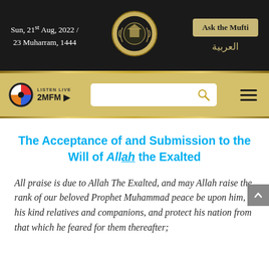Sun, 21st Aug, 2022 / 23 Muharram, 1444
[Figure (logo): Circular emblem/seal with Arabic text and laurel wreath on dark background]
Ask the Mufti
العربية
[Figure (logo): 2MFM Listen Live radio logo with colorful circular graphic]
The Acceptance of and Submission to the Will of Allah the Exalted
All praise is due to Allah The Exalted, and may Allah raise the rank of our beloved Prophet Muhammad peace be upon him, his kind relatives and companions, and protect his nation from that which he feared for them thereafter;